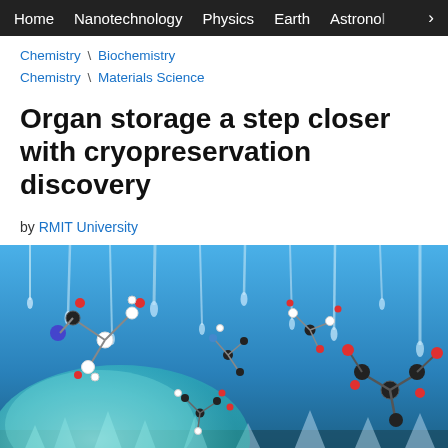Home  Nanotechnology  Physics  Earth  Astronomy  >
Chemistry \ Biochemistry
Chemistry \ Materials Science
Organ storage a step closer with cryopreservation discovery
by RMIT University
[Figure (illustration): Scientific illustration showing molecular structures floating above icy crystal formations against a blue background, with a large semi-transparent teal/cyan blob in the lower left representing a cell or organ, and various colored molecular models floating around it.]